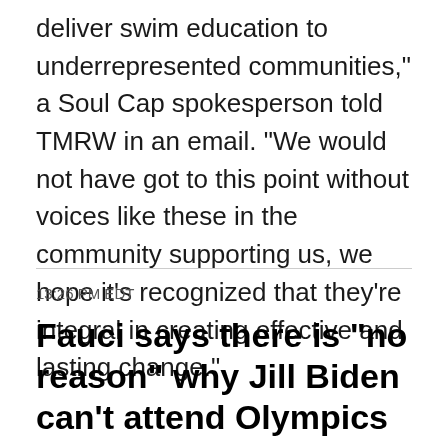deliver swim education to underrepresented communities," a Soul Cap spokesperson told TMRW in an email. "We would not have got to this point without voices like these in the community supporting us, we hope it's recognized that they're integral in creating effective and lasting change."
13:26 PM EDT
Fauci says there is "no reason" why Jill Biden can't attend Olympics